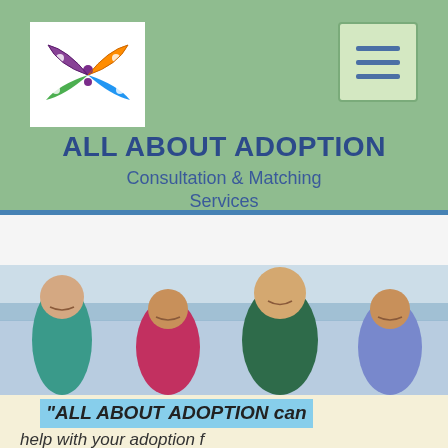[Figure (logo): Colorful butterfly/people logo for All About Adoption]
[Figure (other): Hamburger menu button with three horizontal lines on sage green background]
ALL ABOUT ADOPTION
Consultation & Matching Services
[Figure (photo): Family of four smiling at the beach: older man in teal shirt, young woman in floral dress, young man in plaid shirt, older woman in colorful top]
"ALL ABOUT ADOPTION can
help with your adoption f